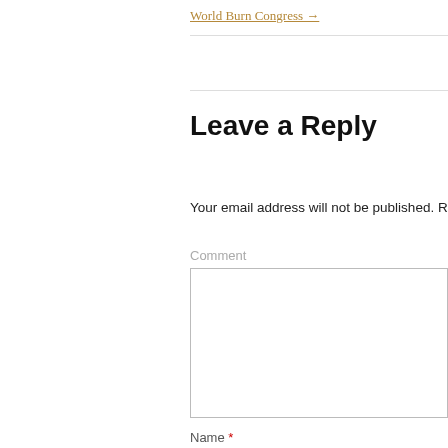World Burn Congress →
Leave a Reply
Your email address will not be published. Required fields are marked *
Comment
Name *
Email *